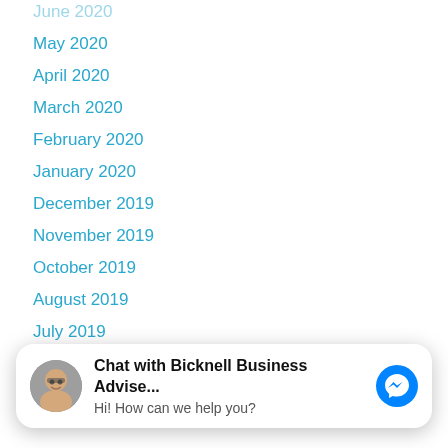June 2020
May 2020
April 2020
March 2020
February 2020
January 2020
December 2019
November 2019
October 2019
August 2019
July 2019
June 2019 (partially hidden)
April 2019
[Figure (screenshot): Facebook Messenger chat widget overlay showing 'Chat with Bicknell Business Advise...' with avatar photo of a man with glasses and messenger icon button. Text reads: Hi! How can we help you?]